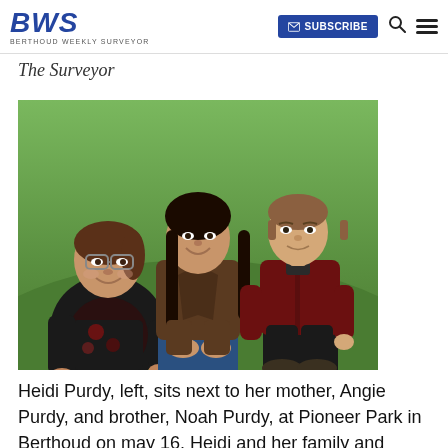BWS - Berthoud Weekly Surveyor | SUBSCRIBE
The Surveyor
[Figure (photo): Three people sitting outdoors on grass at Pioneer Park: Heidi Purdy on the left wearing glasses and a black jacket, her mother Angie Purdy in the center with long dark hair wearing a brown jacket, and brother Noah Purdy on the right wearing a dark red jacket.]
Heidi Purdy, left, sits next to her mother, Angie Purdy, and brother, Noah Purdy, at Pioneer Park in Berthoud on may 16. Heidi and her family and friends will celebrate her 18th birthday this weekend at Pioneer Park.